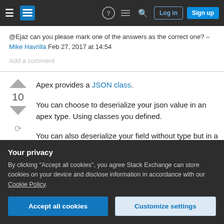Stack Exchange navigation bar with hamburger menu, logo, help, chat, search icons, Log in and Sign up buttons
@Ejaz can you please mark one of the answers as the correct one? – Mike Havrilla Feb 27, 2017 at 14:54
Add a comment
Apex provides a JSON class.
You can choose to deserialize your json value in an apex type. Using classes you defined.
You can also deserialize your field without type but in a Map using the
Your privacy
By clicking "Accept all cookies", you agree Stack Exchange can store cookies on your device and disclose information in accordance with our Cookie Policy.
Accept all cookies
Customize settings